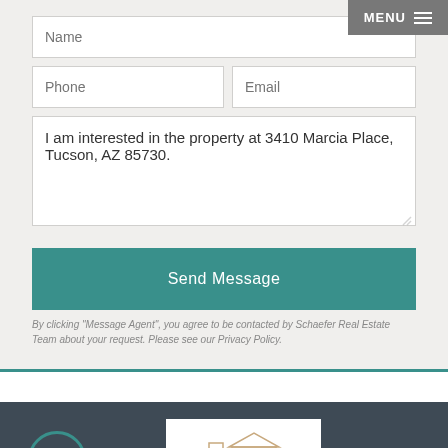Name
Phone
Email
I am interested in the property at 3410 Marcia Place, Tucson, AZ 85730.
Send Message
By clicking "Message Agent", you agree to be contacted by Schaefer Real Estate Team about your request. Please see our Privacy Policy.
[Figure (logo): Schaefer Real Estate Team logo with house icon and text SCHAEFER]
[Figure (illustration): Accessibility icon - circular button with person symbol]